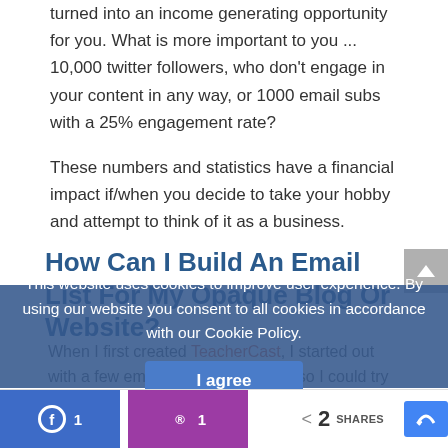turned into an income generating opportunity for you.  What is more important to you ... 10,000 twitter followers, who don't engage in your content in any way, or 1000 email subs with a 25% engagement rate?
These numbers and statistics have a financial impact if/when you decide to take your hobby and attempt to think of it as a business.
How Can I Build An Email List For My Opaque Blog Or Website?
When I first created TeacherCast, I started out with a few email companies simply so I could try them out and learn which one I wanted to use in the long run.  I first started with Aweber, which is a fantastic company...
This website uses cookies to improve user experience. By using our website you consent to all cookies in accordance with our Cookie Policy.
I agree